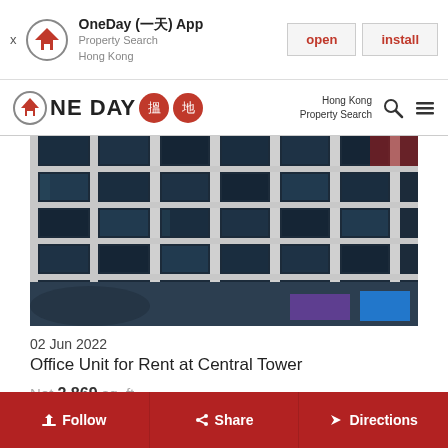OneDay (一天) App | Property Search Hong Kong | open | install
OneDay 搵地 — Hong Kong Property Search
[Figure (photo): Exterior photo of Central Tower, a modern glass-and-steel office building in Hong Kong, shot from a low angle showing the facade with dark glass windows and white structural frames.]
02 Jun 2022
Office Unit for Rent at Central Tower
Net 2,869 sq. ft.
HK$ 281,162 / month
Follow | Share | Directions